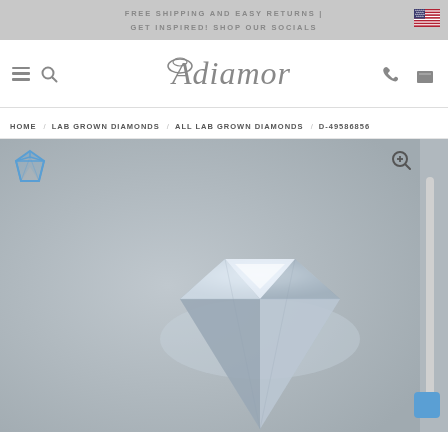FREE SHIPPING AND EASY RETURNS | GET INSPIRED! SHOP OUR SOCIALS
[Figure (logo): Adiamor script logo with ring icon]
HOME / LAB GROWN DIAMONDS / ALL LAB GROWN DIAMONDS / D-49586856
[Figure (photo): Close-up photograph of a lab grown diamond showing facets and brilliance, displayed on grey background with diamond icon overlay and zoom control]